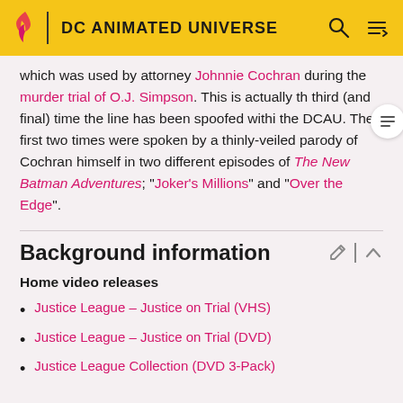DC ANIMATED UNIVERSE
which was used by attorney Johnnie Cochran during the murder trial of O.J. Simpson. This is actually the third (and final) time the line has been spoofed within the DCAU. The first two times were spoken by a thinly-veiled parody of Cochran himself in two different episodes of The New Batman Adventures; "Joker's Millions" and "Over the Edge".
Background information
Home video releases
Justice League - Justice on Trial (VHS)
Justice League - Justice on Trial (DVD)
Justice League Collection (DVD 3-Pack)